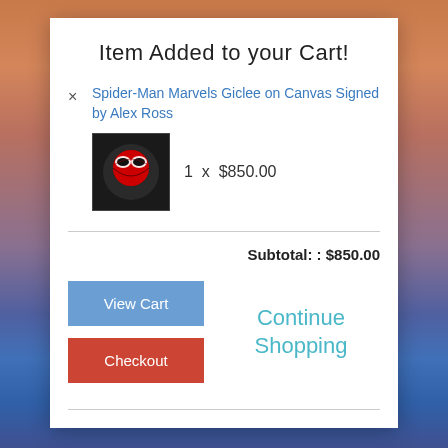[Figure (screenshot): Background image with orange-to-blue gradient, appears to be a desert/sky scene]
Item Added to your Cart!
× Spider-Man Marvels Giclee on Canvas Signed by Alex Ross
1  x  $850.00
Subtotal: : $850.00
View Cart
Checkout
Continue Shopping